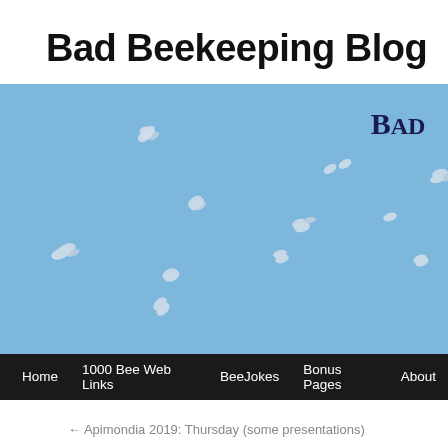Bad Beekeeping Blog
[Figure (photo): Banner image showing bees flying against a blue sky, with 'BAD' text logo in upper right corner, followed by a black navigation bar with links: Home, 1000 Bee Web Links, BeeJokes, Bonus Pages, About]
← Apimondia 2019: Thursday (some presentations)
Winter's coming – are you insulated?